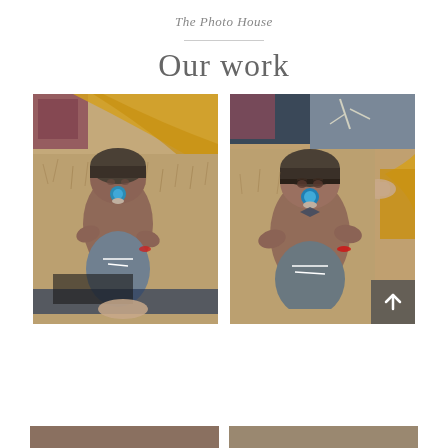The Photo House
Our work
[Figure (photo): Newborn baby lying on a fluffy fur rug wearing a knit hat and grey pants with a blue pacifier, photographed from above with a person in yellow visible]
[Figure (photo): Newborn baby lying on a fluffy fur rug wearing a knit hat and grey pants with a blue pacifier, photographed from above with a person in yellow touching the baby's hat]
[Figure (photo): Partial bottom strip showing additional photos (cropped)]